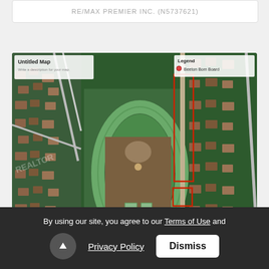RE/MAX PREMIER INC. (N5737621)
[Figure (map): Google Earth aerial/satellite map showing a rectangular plot of land outlined in red, adjacent to a running track and sports field. The map has an 'Untitled Map' overlay in the upper left and a 'Legend' panel in the upper right showing 'Beeton Bom Board'.]
41 SECOND ST
By using our site, you agree to our Terms of Use and Privacy Policy
Dismiss